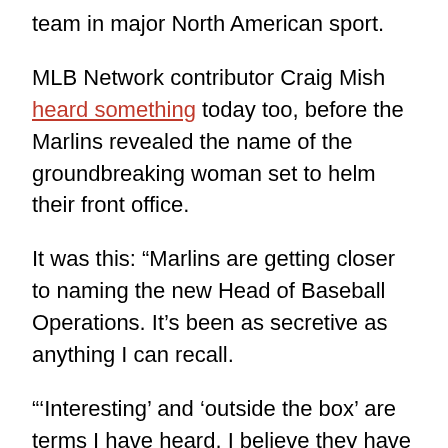team in major North American sport.
MLB Network contributor Craig Mish heard something today too, before the Marlins revealed the name of the groundbreaking woman set to helm their front office.
It was this: “Marlins are getting closer to naming the new Head of Baseball Operations. It’s been as secretive as anything I can recall.
“‘Interesting’ and ‘outside the box’ are terms I have heard. I believe they have their choice. I just don’t know who it is.”
[Figure (screenshot): Tweet card showing Craig Mish with verified badge and Twitter bird logo]